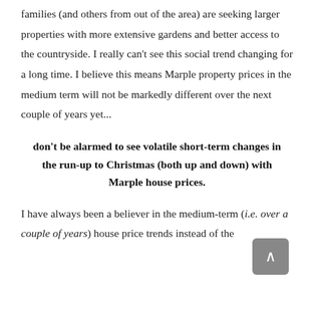families (and others from out of the area) are seeking larger properties with more extensive gardens and better access to the countryside. I really can't see this social trend changing for a long time. I believe this means Marple property prices in the medium term will not be markedly different over the next couple of years yet...
don't be alarmed to see volatile short-term changes in the run-up to Christmas (both up and down) with Marple house prices.
I have always been a believer in the medium-term (i.e. over a couple of years) house price trends instead of the